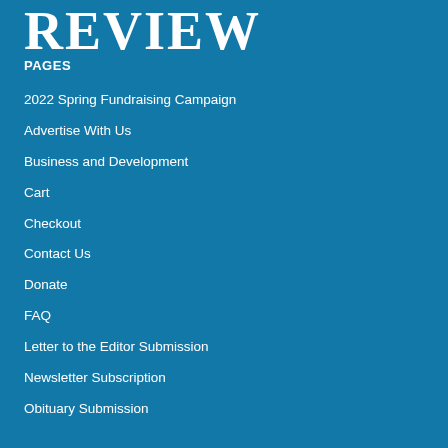REVIEW
PAGES
2022 Spring Fundraising Campaign
Advertise With Us
Business and Development
Cart
Checkout
Contact Us
Donate
FAQ
Letter to the Editor Submission
Newsletter Subscription
Obituary Submission